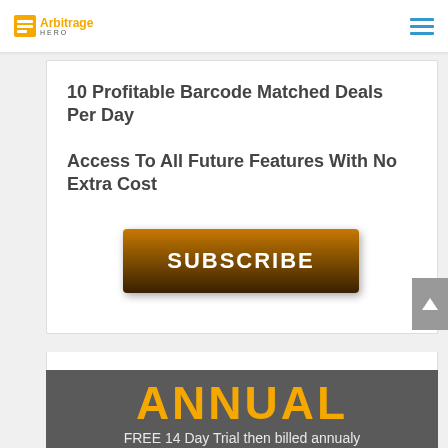Arbitrage Hero logo and navigation
10 Profitable Barcode Matched Deals Per Day
Access To All Future Features With No Extra Cost
[Figure (other): Orange/brown gradient SUBSCRIBE button with white bold text]
ANNUAL
FREE 14 Day Trial then billed annualy